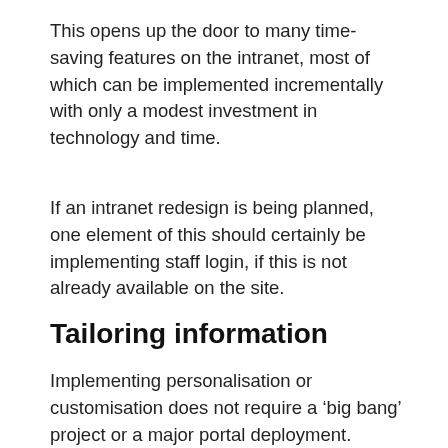This opens up the door to many time-saving features on the intranet, most of which can be implemented incrementally with only a modest investment in technology and time.
If an intranet redesign is being planned, one element of this should certainly be implementing staff login, if this is not already available on the site.
Tailoring information
Implementing personalisation or customisation does not require a ‘big bang’ project or a major portal deployment. Instead, incremental improvements can be made over time.